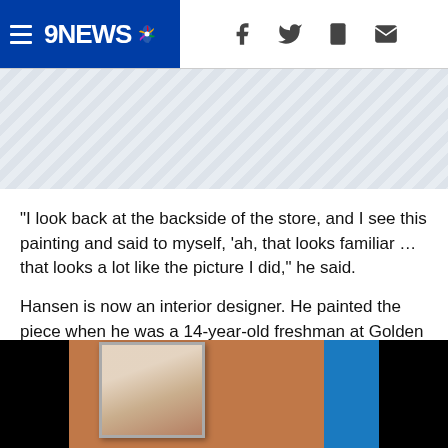9NEWS (NBC News logo) — navigation header with hamburger menu, f, twitter, phone, mail icons
[Figure (other): Advertisement / banner placeholder area with diagonal stripe pattern]
“I look back at the backside of the store, and I see this painting and said to myself, ‘ah, that looks familiar … that looks a lot like the picture I did,” he said.
Hansen is now an interior designer. He painted the piece when he was a 14-year-old freshman at Golden High School and sold the piece for around $150 after his art teacher entered it in a Jefferson County art show.
[Figure (photo): Photo of a framed painting hung on a terracotta/orange-brown wall, with a blue accent visible on the right edge. Black borders on left and right sides.]